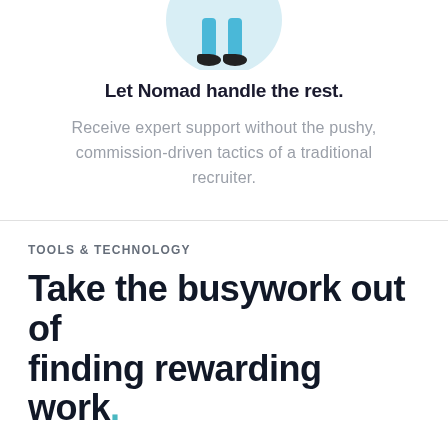[Figure (illustration): Partial illustration of a person (lower body) in light blue pants and dark shoes, on a light blue background]
Let Nomad handle the rest.
Receive expert support without the pushy, commission-driven tactics of a traditional recruiter.
TOOLS & TECHNOLOGY
Take the busywork out of finding rewarding work.
Ditch the tedious paperwork and endless